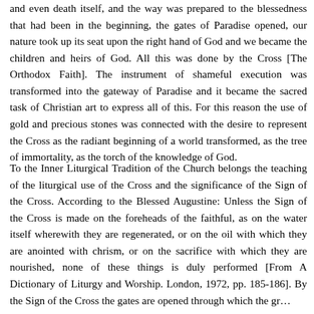and even death itself, and the way was prepared to the blessedness that had been in the beginning, the gates of Paradise opened, our nature took up its seat upon the right hand of God and we became the children and heirs of God. All this was done by the Cross [The Orthodox Faith]. The instrument of shameful execution was transformed into the gateway of Paradise and it became the sacred task of Christian art to express all of this. For this reason the use of gold and precious stones was connected with the desire to represent the Cross as the radiant beginning of a world transformed, as the tree of immortality, as the torch of the knowledge of God.
To the Inner Liturgical Tradition of the Church belongs the teaching of the liturgical use of the Cross and the significance of the Sign of the Cross. According to the Blessed Augustine: Unless the Sign of the Cross is made on the foreheads of the faithful, as on the water itself wherewith they are regenerated, or on the oil with which they are anointed with chrism, or on the sacrifice with which they are nourished, none of these things is duly performed [From A Dictionary of Liturgy and Worship. London, 1972, pp. 185-186]. By the Sign of the Cross the gates are opened through which the gr...